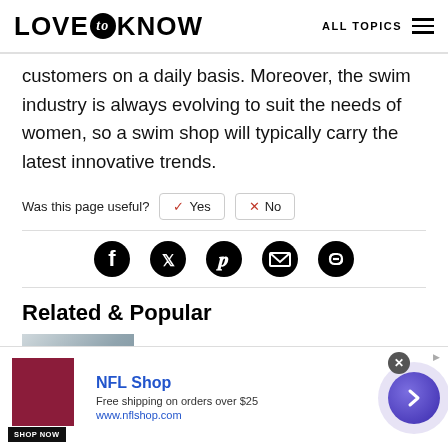LOVE to KNOW — ALL TOPICS
customers on a daily basis. Moreover, the swim industry is always evolving to suit the needs of women, so a swim shop will typically carry the latest innovative trends.
Was this page useful? Yes No
[Figure (infographic): Social share icons row: Facebook, Twitter, Pinterest, Email, Link]
Related & Popular
How to Wear a Winter Scarf
[Figure (photo): Advertisement banner: NFL Shop. Free shipping on orders over $25. www.nflshop.com. SHOP NOW button. Arrow button.]